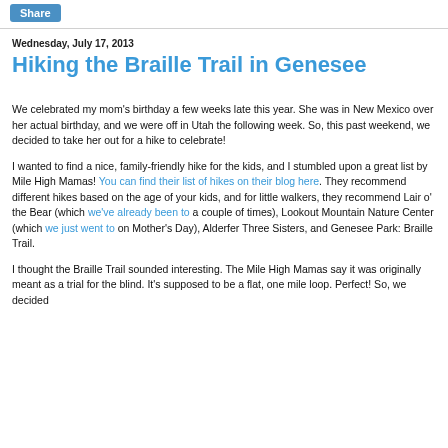Share
Wednesday, July 17, 2013
Hiking the Braille Trail in Genesee
We celebrated my mom's birthday a few weeks late this year. She was in New Mexico over her actual birthday, and we were off in Utah the following week. So, this past weekend, we decided to take her out for a hike to celebrate!
I wanted to find a nice, family-friendly hike for the kids, and I stumbled upon a great list by Mile High Mamas! You can find their list of hikes on their blog here. They recommend different hikes based on the age of your kids, and for little walkers, they recommend Lair o' the Bear (which we've already been to a couple of times), Lookout Mountain Nature Center (which we just went to on Mother's Day), Alderfer Three Sisters, and Genesee Park: Braille Trail.
I thought the Braille Trail sounded interesting. The Mile High Mamas say it was originally meant as a trial for the blind. It's supposed to be a flat, one mile loop. Perfect! So, we decided